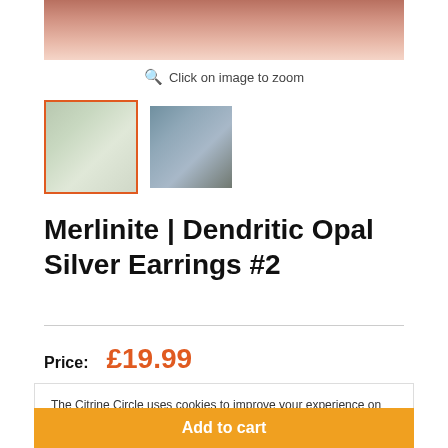[Figure (photo): Close-up photo of a hand holding small silver earrings, cropped at top of page]
Click on image to zoom
[Figure (photo): Thumbnail 1 (selected, orange border): earrings on hand with green background]
[Figure (photo): Thumbnail 2: earrings held in hand]
Merlinite | Dendritic Opal Silver Earrings #2
Price: £19.99
The Citrine Circle uses cookies to improve your experience on this site. By continuing to use this site you agree to the use of cookies
Accept
Add to cart